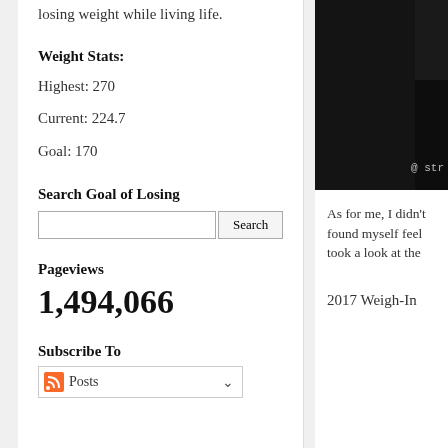losing weight while living life.
Weight Stats:
Highest: 270
Current: 224.7
Goal: 170
Search Goal of Losing
Pageviews
1,494,066
Subscribe To
Posts
[Figure (photo): Dark image with partial text '@ str' visible at bottom right]
As for me, I didn't found myself feel took a look at the
2017 Weigh-In